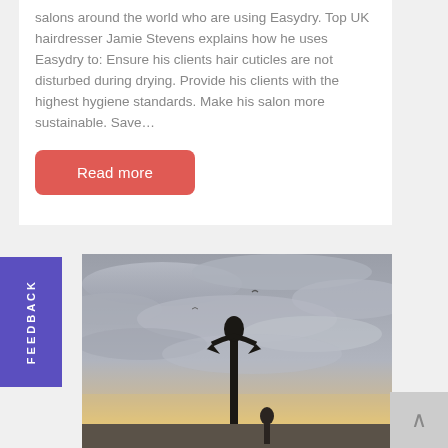salons around the world who are using Easydry. Top UK hairdresser Jamie Stevens explains how he uses Easydry to: Ensure his clients hair cuticles are not disturbed during drying. Provide his clients with the highest hygiene standards. Make his salon more sustainable. Save…
Read more
FEEDBACK
[Figure (photo): Outdoor photo showing a silhouette of a sculpture or figure against a cloudy sky with warm sunset tones near the horizon, possibly near the sea.]